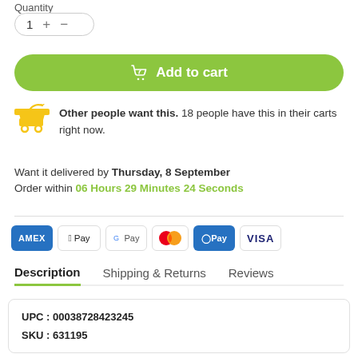Quantity
1 + −
Add to cart
Other people want this. 18 people have this in their carts right now.
Want it delivered by Thursday, 8 September
Order within 06 Hours 29 Minutes 24 Seconds
[Figure (infographic): Payment method logos: AMEX, Apple Pay, Google Pay, Mastercard, OPay, VISA]
Description   Shipping & Returns   Reviews
| UPC : 00038728423245 |
| SKU : 631195 |